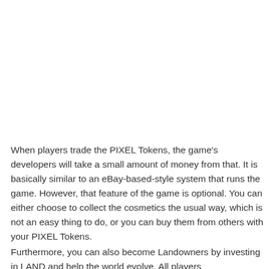When players trade the PIXEL Tokens, the game's developers will take a small amount of money from that. It is basically similar to an eBay-based-style system that runs the game. However, that feature of the game is optional. You can either choose to collect the cosmetics the usual way, which is not an easy thing to do, or you can buy them from others with your PIXEL Tokens.
Furthermore, you can also become Landowners by investing in LAND and help the world evolve. All players